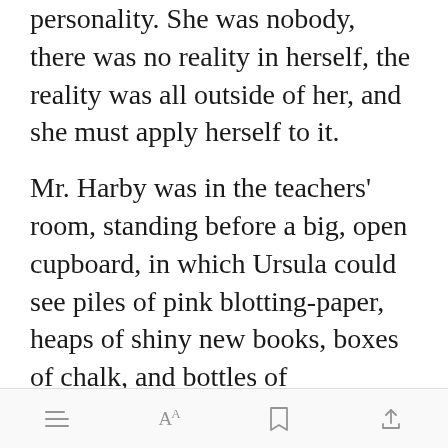personality. She was nobody, there was no reality in herself, the reality was all outside of her, and she must apply herself to it.
Mr. Harby was in the teachers' room, standing before a big, open cupboard, in which Ursula could see piles of pink blotting-paper, heaps of shiny new books, boxes of chalk, and bottles of coloured inks. It looked a treasure store